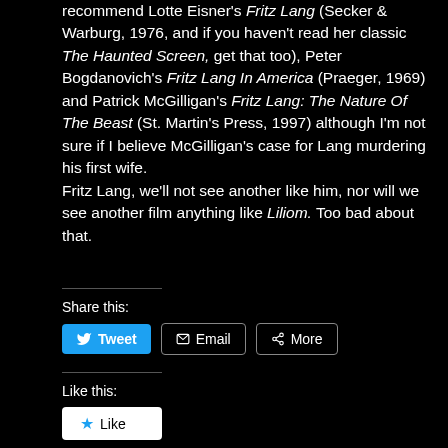recommend Lotte Eisner's Fritz Lang (Secker & Warburg, 1976, and if you haven't read her classic The Haunted Screen, get that too), Peter Bogdanovich's Fritz Lang In America (Praeger, 1969) and Patrick McGilligan's Fritz Lang: The Nature Of The Beast (St. Martin's Press, 1997) although I'm not sure if I believe McGilligan's case for Lang murdering his first wife.
Fritz Lang, we'll not see another like him, nor will we see another film anything like Liliom. Too bad about that.
Share this:
Tweet | Email | More
Like this:
Like